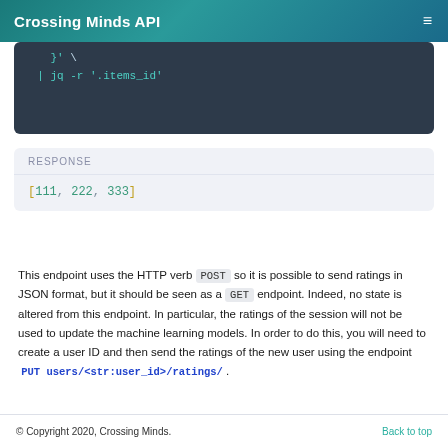Crossing Minds API
}'  \
| jq -r '.items_id'
RESPONSE
[111, 222, 333]
This endpoint uses the HTTP verb POST so it is possible to send ratings in JSON format, but it should be seen as a GET endpoint. Indeed, no state is altered from this endpoint. In particular, the ratings of the session will not be used to update the machine learning models. In order to do this, you will need to create a user ID and then send the ratings of the new user using the endpoint PUT users/<str:user_id>/ratings/ .
© Copyright 2020, Crossing Minds.    Back to top